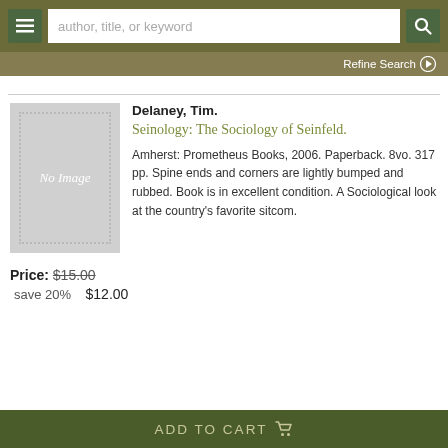author, title, or keyword [search bar] | Refine Search
[Figure (illustration): No Image placeholder book cover — grey rectangle with dotted border and italic 'No Image' text]
Delaney, Tim.
Seinology: The Sociology of Seinfeld.
Amherst: Prometheus Books, 2006. Paperback. 8vo. 317 pp. Spine ends and corners are lightly bumped and rubbed. Book is in excellent condition. A Sociological look at the country's favorite sitcom.
Price: $15.00
  save 20%   $12.00